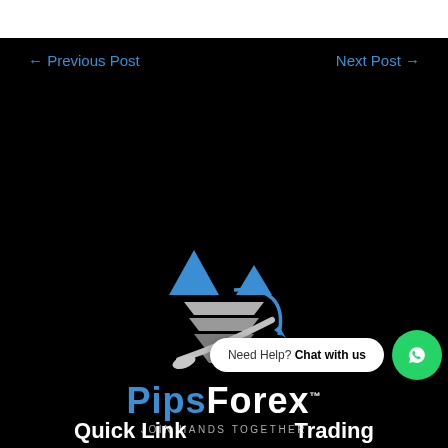← Previous Post
Next Post →
[Figure (logo): PipsForex logo with blue triangles, silver layered pyramid shape, and swoosh arrow. Text reads 'PipsForex TM' with tagline 'JOIN HANDS TOGETHER' on black background.]
Need Help? Chat with us
Quick Link
Trading